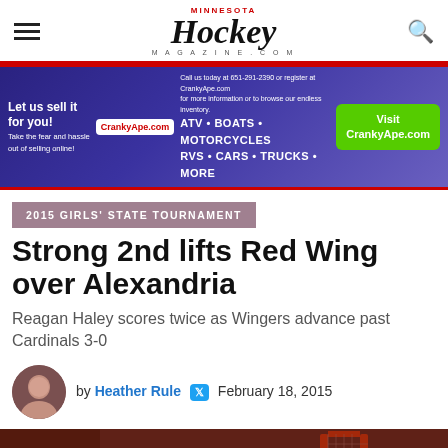Minnesota Hockey Magazine
[Figure (other): CrankyApe.com advertisement banner: Let us sell it for you! ATV • BOATS • MOTORCYCLES • RVS • CARS • TRUCKS • MORE. Call us today at 651-291-2390 or register at CrankyApe.com. Visit CrankyApe.com button.]
2015 GIRLS' STATE TOURNAMENT
Strong 2nd lifts Red Wing over Alexandria
Reagan Haley scores twice as Wingers advance past Cardinals 3-0
by Heather Rule  February 18, 2015
[Figure (photo): Hockey action photo showing players near a goal net, appears to be from tournament game.]